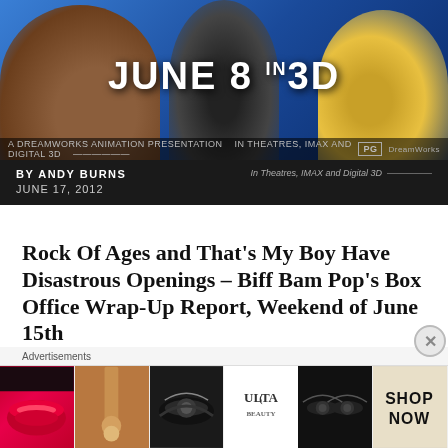[Figure (photo): Movie promotional banner for Madagascar 3 (June 8 in 3D) showing animated characters – hippo, penguin, zebra, lion – against a blue background]
BY ANDY BURNS  In Theatres, IMAX and Digital 3D
JUNE 17, 2012
Rock Of Ages and That's My Boy Have Disastrous Openings – Biff Bam Pop's Box Office Wrap-Up Report, Weekend of June 15th
It was an absolutely abysmal weekend for two new releases looking to connect with audiences. Just how bad was it? Find out after the jump!
Advertisements
[Figure (photo): ULTA beauty advertisement banner showing makeup – lips, brush, eyes, ULTA logo, and SHOP NOW text]